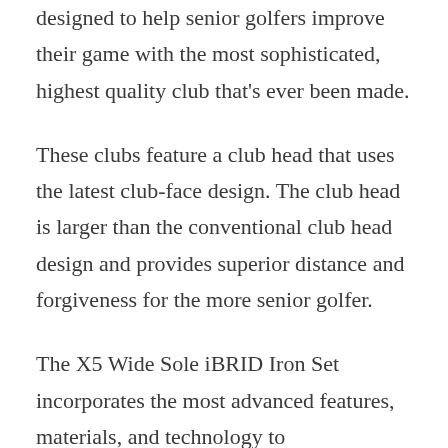designed to help senior golfers improve their game with the most sophisticated, highest quality club that's ever been made.
These clubs feature a club head that uses the latest club-face design. The club head is larger than the conventional club head design and provides superior distance and forgiveness for the more senior golfer.
The X5 Wide Sole iBRID Iron Set incorporates the most advanced features, materials, and technology to